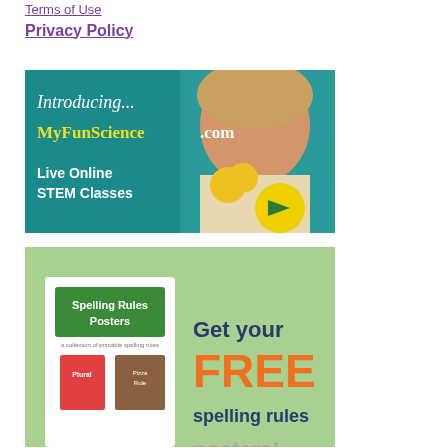Terms of Use
Privacy Policy
[Figure (illustration): Advertisement banner for MyFunScience.com showing 'Introducing... MyFunScience.com' in italic white and yellow text on teal background, with text 'Live Online STEM Classes' and a yellow arrow button, alongside a photo of a smiling girl holding yellow flowers]
[Figure (illustration): Advertisement for free Spelling Rules Posters showing a green background with a white poster mockup labeled 'Spelling Rules Posters' and text 'Get your FREE spelling rules posters!' in dark blue and orange]